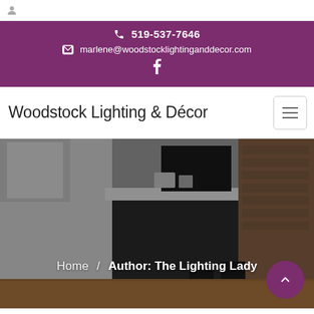519-537-7646
marlene@woodstocklightinganddecor.com
Woodstock Lighting & Décor
[Figure (photo): Interior kitchen photo used as hero banner background]
Home / Author: The Lighting Lady